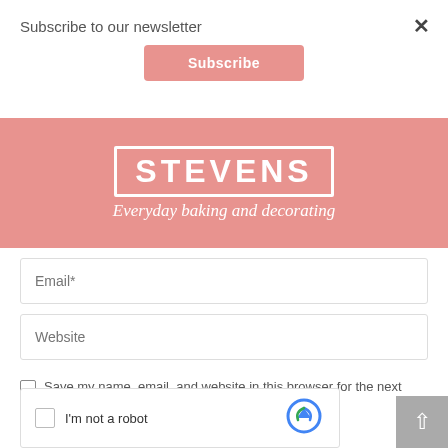Subscribe to our newsletter
[Figure (other): Subscribe button - pink/salmon colored button with white text 'Subscribe']
×
[Figure (logo): Stevens bakery logo on pink background - 'STEVENS' in white block letters outlined with white border, tagline 'Everyday baking and decorating' in white italic script below]
[Figure (other): Email input field with placeholder text 'Email*']
[Figure (other): Website input field with placeholder text 'Website']
Save my name, email, and website in this browser for the next time I comment.
[Figure (other): reCAPTCHA widget with checkbox and text 'I'm not a robot' and reCAPTCHA logo icon]
[Figure (other): Scroll-to-top button - grey square with white upward arrow]